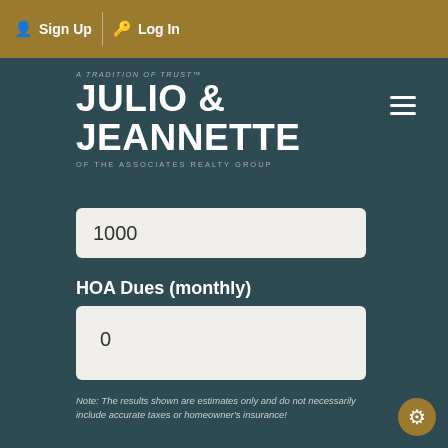Sign Up  Log In
[Figure (logo): Julio & Jeannette of The Associates Realty Group logo with tagline 'A Tradition of Trust']
1000
HOA Dues (monthly)
0
Note: The results shown are estimates only and do not necessarily include accurate taxes or homeowner's insurance!